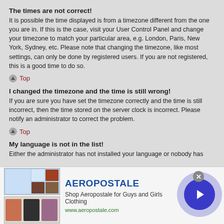The times are not correct!
It is possible the time displayed is from a timezone different from the one you are in. If this is the case, visit your User Control Panel and change your timezone to match your particular area, e.g. London, Paris, New York, Sydney, etc. Please note that changing the timezone, like most settings, can only be done by registered users. If you are not registered, this is a good time to do so.
▲ Top
I changed the timezone and the time is still wrong!
If you are sure you have set the timezone correctly and the time is still incorrect, then the time stored on the server clock is incorrect. Please notify an administrator to correct the problem.
▲ Top
My language is not in the list!
Either the administrator has not installed your language or nobody has
[Figure (infographic): Advertisement banner for Aeropostale showing clothing images on the left, brand name AEROPOSTALE in blue, tagline 'Shop Aeropostale for Guys and Girls Clothing', URL www.aeropostale.com, a close button (X) and a blue arrow button on the right.]